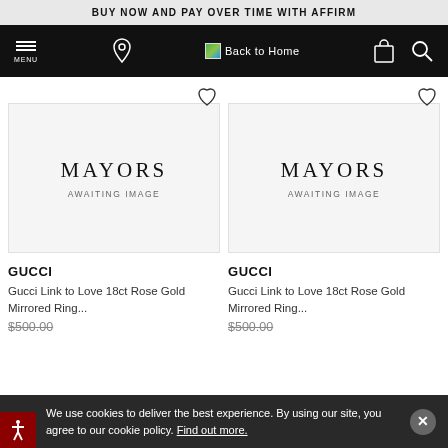BUY NOW AND PAY OVER TIME WITH AFFIRM
[Figure (screenshot): Navigation bar with hamburger menu, location pin, Back to Home logo, shopping bag icon, and search icon on black background]
[Figure (illustration): Mayors Awaiting Image placeholder - left product card with heart wishlist icon]
[Figure (illustration): Mayors Awaiting Image placeholder - right product card with heart wishlist icon]
GUCCI
Gucci Link to Love 18ct Rose Gold Mirrored Ring...
$500.00
GUCCI
Gucci Link to Love 18ct Rose Gold Mirrored Ring...
$500.00
We use cookies to deliver the best experience. By using our site, you agree to our cookie policy. Find out more.